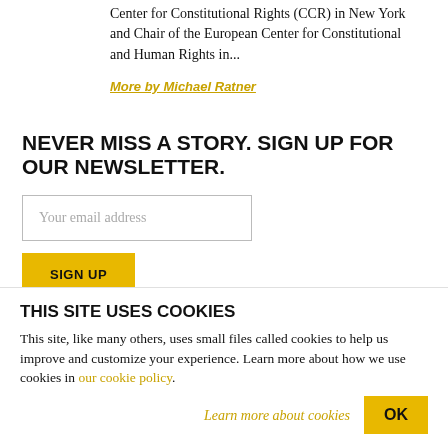Center for Constitutional Rights (CCR) in New York and Chair of the European Center for Constitutional and Human Rights in...
More by Michael Ratner
NEVER MISS A STORY. SIGN UP FOR OUR NEWSLETTER.
Your email address
SIGN UP
THIS SITE USES COOKIES
This site, like many others, uses small files called cookies to help us improve and customize your experience. Learn more about how we use cookies in our cookie policy.
Learn more about cookies
OK